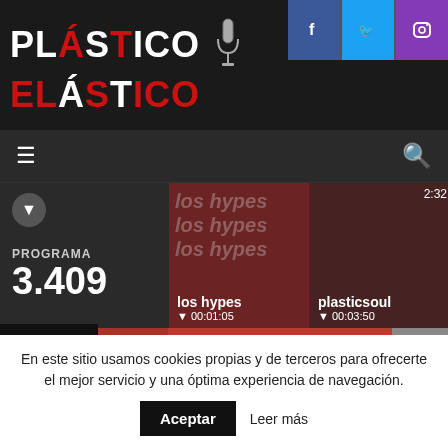[Figure (screenshot): Plástico Elástico radio website header with logo and social icons (Facebook, Twitter, Instagram)]
Plástico Elástico
PROGRAMA 3.409
los hypes ▼ 00:01:05
plasticsoul ▼ 00:03:50  2:32
Sorry - your browser is not supported. Please update your browser or install another such
Good Enough  2:12
nota
En este sitio usamos cookies propias y de terceros para ofrecerte el mejor servicio y una óptima experiencia de navegación.
Aceptar
Leer más